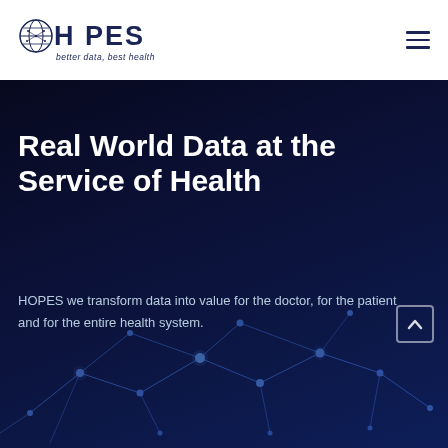HOPES — better data, best health
Real World Data at the Service of Health
HOPES we transform data into value for the doctor, for the patient and for the entire health system.
[Figure (illustration): Dark blue network/constellation background graphic with connected dots and lines]